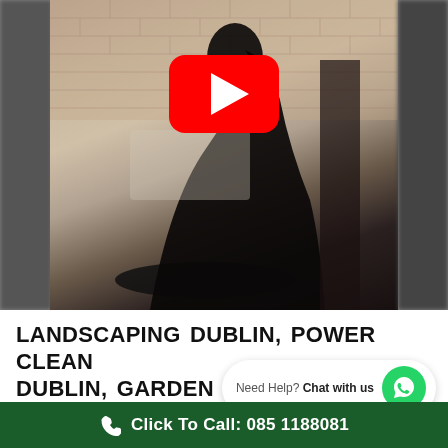[Figure (screenshot): Video thumbnail showing a brick patio with a dark shadow silhouette of a person, overlaid with a YouTube play button (red rounded rectangle with white triangle). Left and right edges are blurred/darkened. Scene depicts an outdoor paving/landscaping job.]
LANDSCAPING DUBLIN, POWER CLEAN DUBLIN, GARDEN DESIGN DUBLIN LEAF 2 LEAF LAND
We are a professional garden design
Need Help? Chat with us
Click To Call: 085 1188081